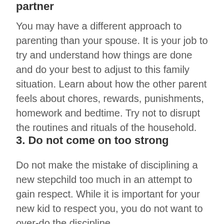partner
You may have a different approach to parenting than your spouse. It is your job to try and understand how things are done and do your best to adjust to this family situation. Learn about how the other parent feels about chores, rewards, punishments, homework and bedtime. Try not to disrupt the routines and rituals of the household.
3. Do not come on too strong
Do not make the mistake of disciplining a new stepchild too much in an attempt to gain respect. While it is important for your new kid to respect you, you do not want to over-do the discipline